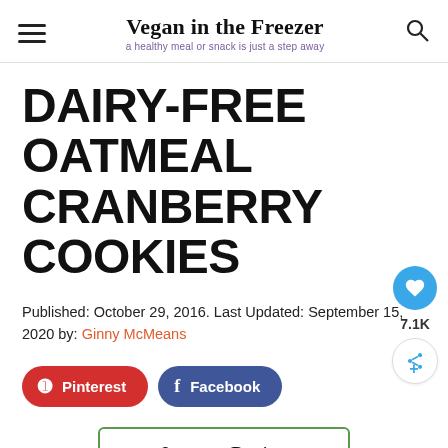Vegan in the Freezer — a healthy meal or snack is just a step away
DAIRY-FREE OATMEAL CRANBERRY COOKIES
Published: October 29, 2016. Last Updated: September 15, 2020 by: Ginny McMeans
[Figure (other): Pinterest and Facebook social share buttons]
[Figure (other): Jump to Recipe button with green border]
[Figure (other): Heart/save button showing 7.1K and share button on right side]